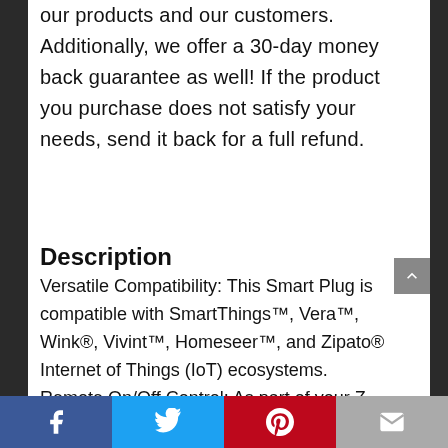our products and our customers. Additionally, we offer a 30-day money back guarantee as well! If the product you purchase does not satisfy your needs, send it back for a full refund.
Description
Versatile Compatibility: This Smart Plug is compatible with SmartThings™, Vera™, Wink®, Vivint™, Homeseer™, and Zipato® Internet of Things (IoT) ecosystems. Remote On/Off Control: As part of your Z-
[Facebook] [Twitter] [Pinterest] [Email]